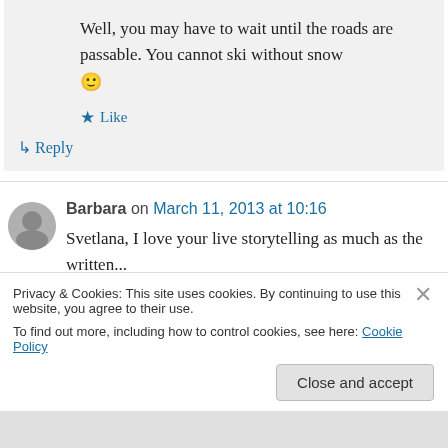Well, you may have to wait until the roads are passable. You cannot ski without snow 🙂
★ Like
↳ Reply
Barbara on March 11, 2013 at 10:16
Svetlana, I love your live storytelling as much as the written...
Privacy & Cookies: This site uses cookies. By continuing to use this website, you agree to their use.
To find out more, including how to control cookies, see here: Cookie Policy
Close and accept